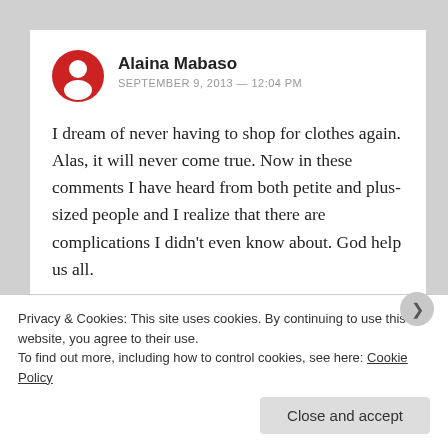[Figure (illustration): Red circular avatar icon with a white person/user silhouette]
Alaina Mabaso
SEPTEMBER 9, 2013 — 12:04 PM
I dream of never having to shop for clothes again. Alas, it will never come true. Now in these comments I have heard from both petite and plus-sized people and I realize that there are complications I didn't even know about. God help us all.
REPLY
Privacy & Cookies: This site uses cookies. By continuing to use this website, you agree to their use.
To find out more, including how to control cookies, see here: Cookie Policy
Close and accept